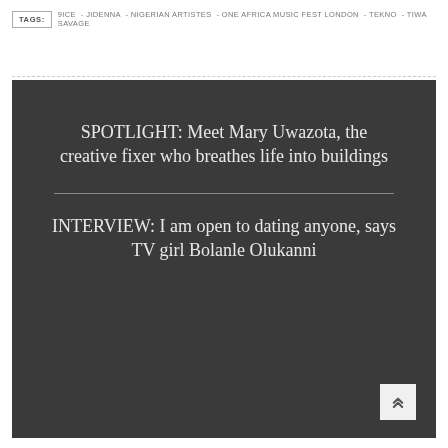TAGS: 9ICE - JIDENNA - NIGERIAN ARTISTES - ONE AFRICA MUSIC FEST LONDON - TEKNO - TIWA SAVAGE
SPOTLIGHT: Meet Mary Uwazota, the creative fixer who breathes life into buildings
INTERVIEW: I am open to dating anyone, says TV girl Bolanle Olukanni